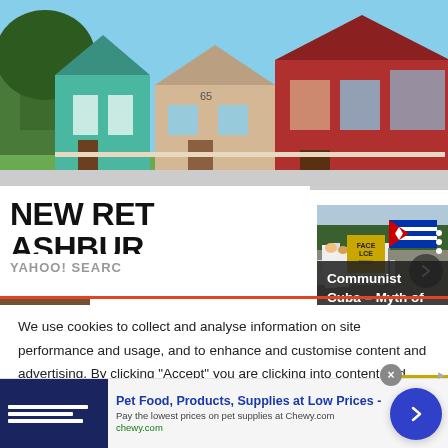[Figure (photo): Row of colorful suburban houses – teal, beige, red – with trees and grass, street view]
NEW RET... ASHBUR...
YAHOO! SEARC...
[Figure (photo): Crowd of people in white lab coats and masks marching, one person holding a Cuban flag]
Communist Cuba – Myth of anegalitarian society,
We use cookies to collect and analyse information on site performance and usage, and to enhance and customise content and advertising. By clicking "Accept" you are clicking into content and...
Pet Food, Products, Supplies at Low Prices - Pay the lowest prices on pet supplies at Chewy.com chewy.com